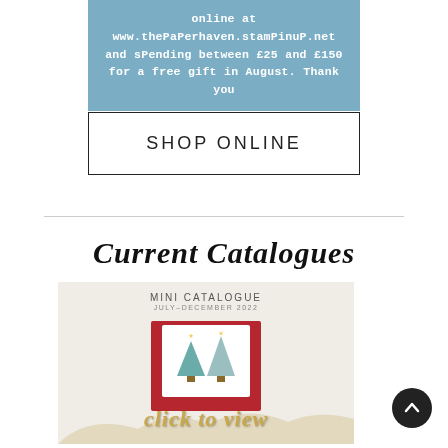online at www.thePaPerhaven.stamPinuP.net and sPending between £25 and £150 for a free gift in August. Thank you
SHOP ONLINE
Current Catalogues
[Figure (photo): Mini Catalogue July-December 2022 cover with Christmas trees card and 'click to view' overlay text in gold script]